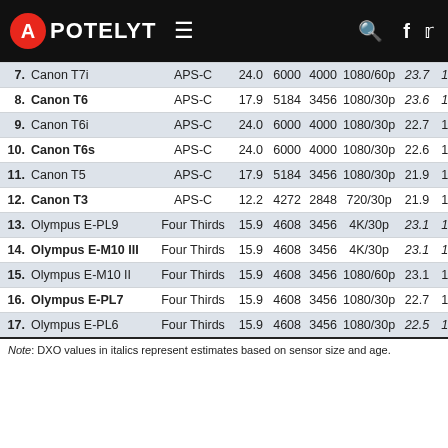APOTELYT
| # | Camera | Sensor | MP | W | H | Video | DXO | Score |
| --- | --- | --- | --- | --- | --- | --- | --- | --- |
| 7. | Canon T7i | APS-C | 24.0 | 6000 | 4000 | 1080/60p | 23.7 | 13 |
| 8. | Canon T6 | APS-C | 17.9 | 5184 | 3456 | 1080/30p | 23.6 | 12 |
| 9. | Canon T6i | APS-C | 24.0 | 6000 | 4000 | 1080/30p | 22.7 | 12 |
| 10. | Canon T6s | APS-C | 24.0 | 6000 | 4000 | 1080/30p | 22.6 | 12 |
| 11. | Canon T5 | APS-C | 17.9 | 5184 | 3456 | 1080/30p | 21.9 | 11 |
| 12. | Canon T3 | APS-C | 12.2 | 4272 | 2848 | 720/30p | 21.9 | 11 |
| 13. | Olympus E-PL9 | Four Thirds | 15.9 | 4608 | 3456 | 4K/30p | 23.1 | 12 |
| 14. | Olympus E-M10 III | Four Thirds | 15.9 | 4608 | 3456 | 4K/30p | 23.1 | 12 |
| 15. | Olympus E-M10 II | Four Thirds | 15.9 | 4608 | 3456 | 1080/60p | 23.1 | 12 |
| 16. | Olympus E-PL7 | Four Thirds | 15.9 | 4608 | 3456 | 1080/30p | 22.7 | 12 |
| 17. | Olympus E-PL6 | Four Thirds | 15.9 | 4608 | 3456 | 1080/30p | 22.5 | 12 |
Note: DXO values in italics represent estimates based on sensor size and age.